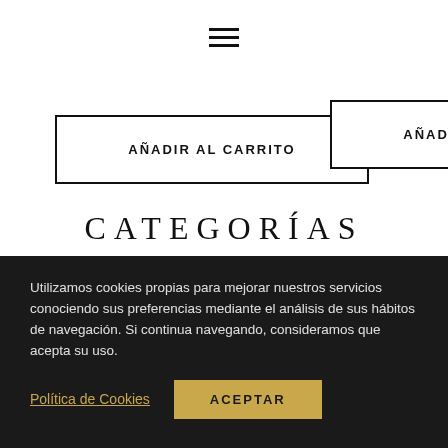[Figure (other): Hamburger menu icon with three horizontal lines]
[Figure (other): Button with border and text AÑADIR AL CARRITO (left)]
[Figure (other): Button with border and text AÑADIR AL CARRITO (right)]
CATEGORÍAS
[Figure (photo): Circular arch / semicircle shape showing a railing or fence with vertical bars, cropped to show upper portion]
Utilizamos cookies propias para mejorar nuestros servicios conociendo sus preferencias mediante el análisis de sus hábitos de navegación. Si continua navegando, consideramos que acepta su uso.
Política de Cookies
ACEPTAR